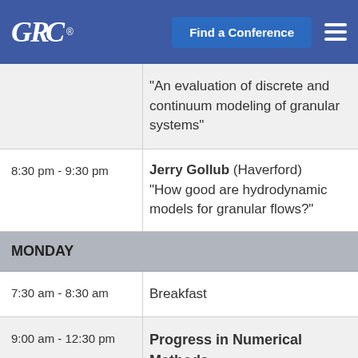GRC® | Find a Conference
"An evaluation of discrete and continuum modeling of granular systems"
8:30 pm - 9:30 pm | Jerry Gollub (Haverford) "How good are hydrodynamic models for granular flows?"
MONDAY
7:30 am - 8:30 am | Breakfast
9:00 am - 12:30 pm | Progress in Numerical Methods